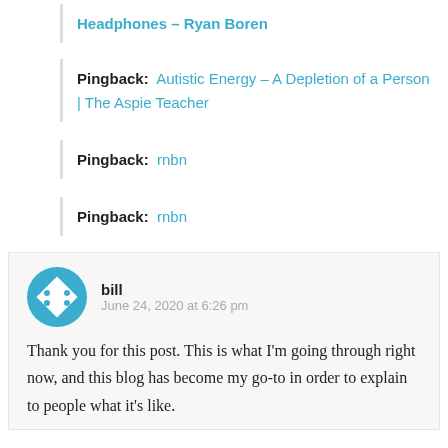Pingback: Autistic Energy – A Depletion of a Person | The Aspie Teacher
Pingback: rnbn
Pingback: rnbn
bill
June 24, 2020 at 6:26 pm
Thank you for this post. This is what I'm going through right now, and this blog has become my go-to in order to explain to people what it's like.